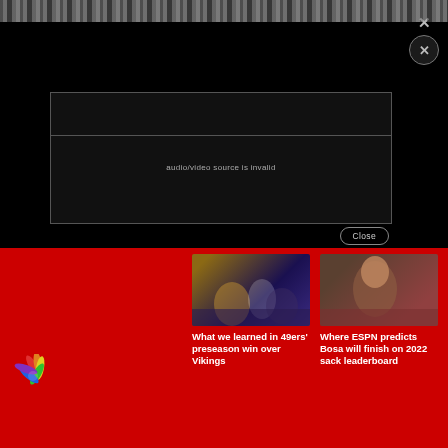[Figure (screenshot): Black video player area with error message 'audio/video source is invalid' and a Close button. A close X button appears in the top right corner.]
audio/video source is invalid
Close
[Figure (photo): 49ers players in action during preseason game against Vikings]
What we learned in 49ers' preseason win over Vikings
[Figure (photo): NFL player Nick Bosa close-up portrait]
Where ESPN predicts Bosa will finish on 2022 sack leaderboard
[Figure (photo): Tyreek Hill in Dolphins jersey at practice]
How Tyreek shout-out two was full-circle moment for Womack
[Figure (logo): NBC Peacock colorful feather logo]